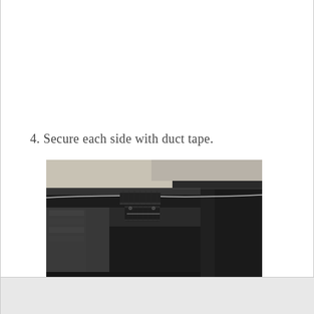4. Secure each side with duct tape.
[Figure (photo): Close-up photo of a dark plastic or rubber container edge with pieces of black duct tape securing a wire or cord along the rim. The container interior is dark and the background shows a light-colored wall.]